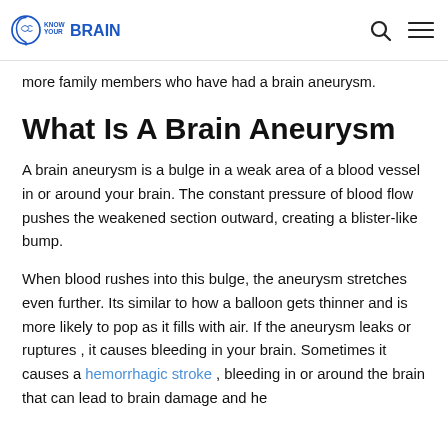KNOW YOUR BRAIN
more family members who have had a brain aneurysm.
What Is A Brain Aneurysm
A brain aneurysm is a bulge in a weak area of a blood vessel in or around your brain. The constant pressure of blood flow pushes the weakened section outward, creating a blister-like bump.
When blood rushes into this bulge, the aneurysm stretches even further. Its similar to how a balloon gets thinner and is more likely to pop as it fills with air. If the aneurysm leaks or ruptures , it causes bleeding in your brain. Sometimes it causes a hemorrhagic stroke , bleeding in or around the brain that can lead to brain damage and he